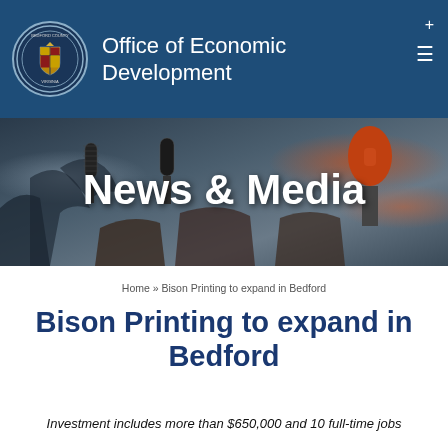Office of Economic Development
[Figure (photo): News & Media banner showing hands holding microphones at a press conference, with a large white text overlay reading 'News & Media']
Home » Bison Printing to expand in Bedford
Bison Printing to expand in Bedford
Investment includes more than $650,000 and 10 full-time jobs